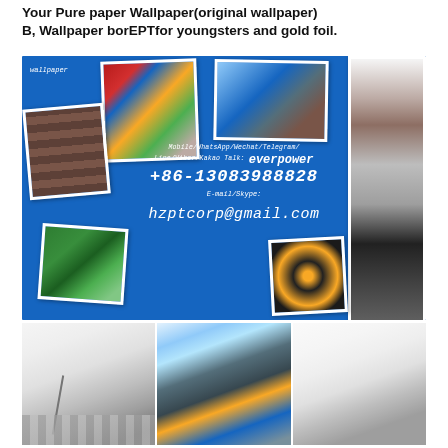Your Pure paper Wallpaper(original wallpaper)B, Wallpaper borEPTfor youngsters and gold foil.
[Figure (photo): Blue banner advertisement for wallpaper company showing various wallpaper samples and interior room photos arranged as polaroid-style photo collages on a blue background, with contact information: Mobile/WhatsApp/Wechat/Telegram/Line/Viber/Kakao Talk: everpower, +86-13083988828, E-mail/Skype: hzptcorp@gmail.com]
[Figure (photo): Three interior room design photos showing modern living rooms with wallpaper decor. Left: minimalist room with floor lamp and sofa. Center: room with floral wallpaper and blue sofa. Right: modern room with framed art and gray armchair.]